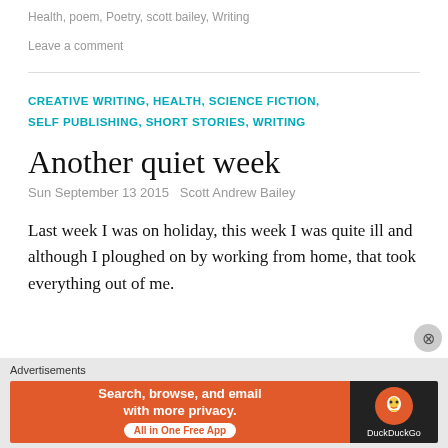Health, poem, Poetry, scott bailey, Writing
Leave a comment
CREATIVE WRITING, HEALTH, SCIENCE FICTION, SELF PUBLISHING, SHORT STORIES, WRITING
Another quiet week
Sun September 13 2015   Scott Andrew Bailey
Last week I was on holiday, this week I was quite ill and although I ploughed on by working from home, that took everything out of me.
[Figure (screenshot): DuckDuckGo advertisement banner: orange section with 'Search, browse, and email with more privacy. All in One Free App' and dark section with DuckDuckGo logo]